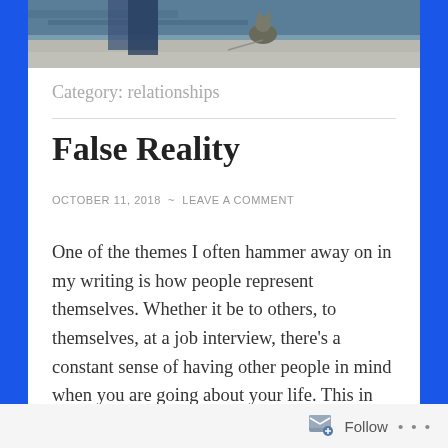[Figure (photo): Partial photo showing what appears to be a person and a cat near water/pavement, cropped at top of page]
Category: relationships
False Reality
OCTOBER 11, 2018  ~  LEAVE A COMMENT
One of the themes I often hammer away on in my writing is how people represent themselves. Whether it be to others, to themselves, at a job interview, there's a constant sense of having other people in mind when you are going about your life. This in some instances is useful, if you
Follow ...